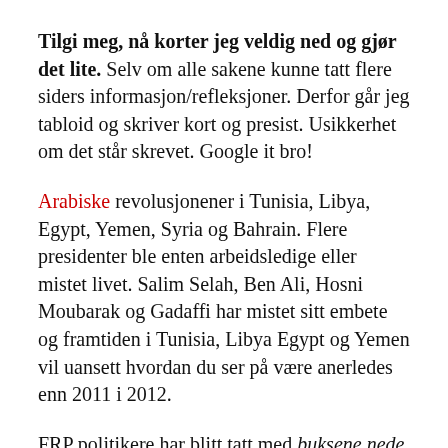Tilgi meg, nå korter jeg veldig ned og gjør det lite. Selv om alle sakene kunne tatt flere siders informasjon/refleksjoner. Derfor går jeg tabloid og skriver kort og presist. Usikkerhet om det står skrevet. Google it bro!
Arabiske revolusjonener i Tunisia, Libya, Egypt, Yemen, Syria og Bahrain. Flere presidenter ble enten arbeidsledige eller mistet livet. Salim Selah, Ben Ali, Hosni Moubarak og Gadaffi har mistet sitt embete og framtiden i Tunisia, Libya Egypt og Yemen vil uansett hvordan du ser på være anerledes enn 2011 i 2012.
FRP politikere har blitt tatt med buksene nede,